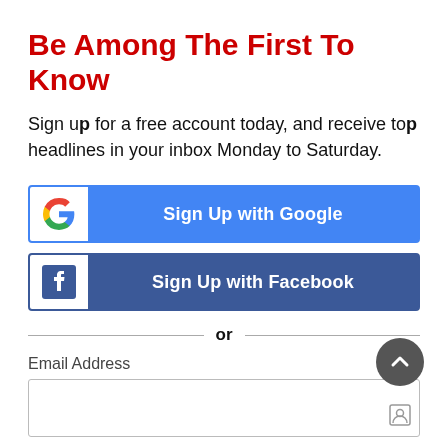Be Among The First To Know
Sign up for a free account today, and receive top headlines in your inbox Monday to Saturday.
[Figure (other): Sign Up with Google button — blue button with Google G logo icon on the left and white bold text 'Sign Up with Google' centered]
[Figure (other): Sign Up with Facebook button — dark blue button with Facebook f logo icon on the left and white bold text 'Sign Up with Facebook' centered]
or
Email Address
[Figure (other): Empty email address input field with a small key/contact icon in lower right corner]